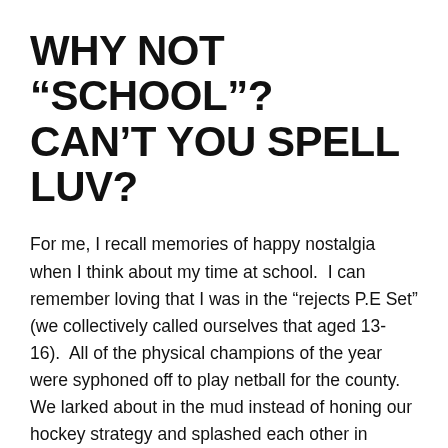WHY NOT “SCHOOL”?  CAN’T YOU SPELL LUV?
For me, I recall memories of happy nostalgia when I think about my time at school.  I can remember loving that I was in the “rejects P.E Set” (we collectively called ourselves that aged 13-16).  All of the physical champions of the year were syphoned off to play netball for the county.  We larked about in the mud instead of honing our hockey strategy and splashed each other in swimming instead of diving for the black brick at record speed.